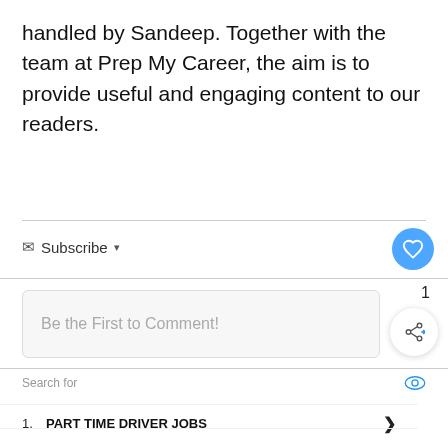handled by Sandeep. Together with the team at Prep My Career, the aim is to provide useful and engaging content to our readers.
Subscribe
Be the First to Comment!
1
WHAT'S NEXT → Top 21 Genpact...
Name*
Search for
1. PART TIME DRIVER JOBS
2. HOSPITAL JOBS AVAILABLE NOW